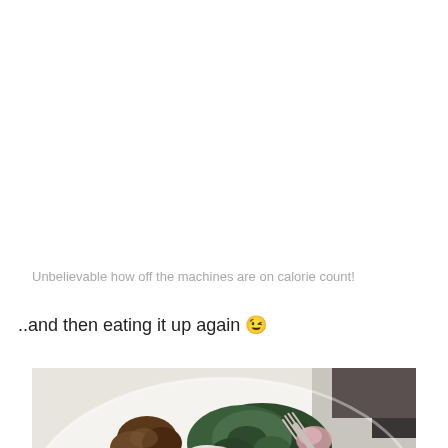Unbelievable how off the machines are on calorie count!
..and then eating it up again 😉
[Figure (photo): A white plate with a food dish containing roasted brussels sprouts, sautéed kale, sliced radishes, and other roasted vegetables. A fork is visible in the upper right area of the plate.]